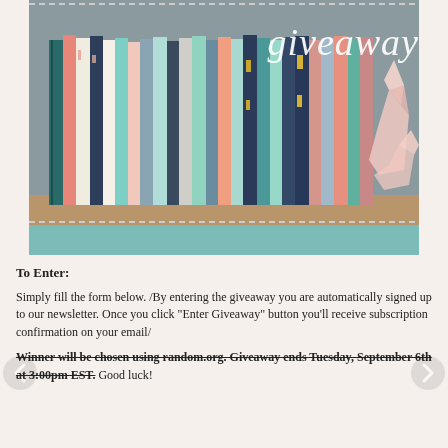[Figure (photo): Photo of colorful fabric fat quarters standing upright on a wooden shelf, with a rose quartz crystal on the right side. The word 'giveaway' is written in white cursive script at the top right. The image has a decorative dotted/dashed border at the top and bottom.]
To Enter:
Simply fill the form below. /By entering the giveaway you are automatically signed up to our newsletter. Once you click "Enter Giveaway" button you'll receive subscription confirmation on your email/
Winner will be chosen using random.org. Giveaway ends Tuesday, September 6th at 3:00pm EST. Good luck!